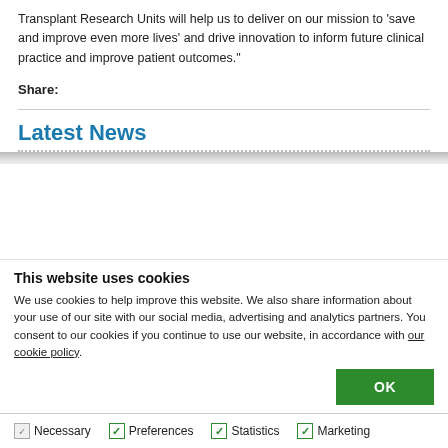Transplant Research Units will help us to deliver on our mission to 'save and improve even more lives' and drive innovation to inform future clinical practice and improve patient outcomes."
Share:
Latest News
This website uses cookies
We use cookies to help improve this website. We also share information about your use of our site with our social media, advertising and analytics partners. You consent to our cookies if you continue to use our website, in accordance with our cookie policy.
OK
Necessary  Preferences  Statistics  Marketing